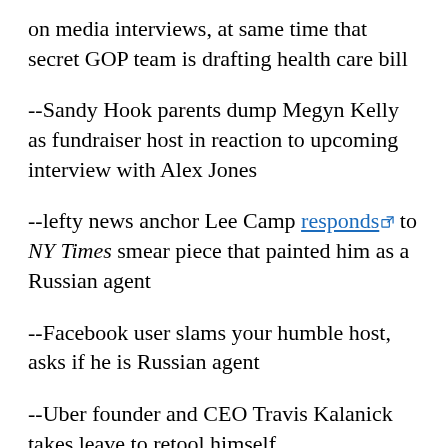on media interviews, at same time that secret GOP team is drafting health care bill
--Sandy Hook parents dump Megyn Kelly as fundraiser host in reaction to upcoming interview with Alex Jones
--lefty news anchor Lee Camp responds [link] to NY Times smear piece that painted him as a Russian agent
--Facebook user slams your humble host, asks if he is Russian agent
--Uber founder and CEO Travis Kalanick takes leave to retool himself
--[partial, cut off]